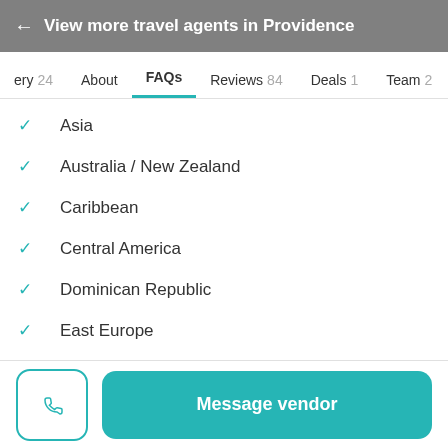← View more travel agents in Providence
ery 24  About  FAQs  Reviews 84  Deals 1  Team 2
Asia
Australia / New Zealand
Caribbean
Central America
Dominican Republic
East Europe
Hawaii
Mexico
Message vendor